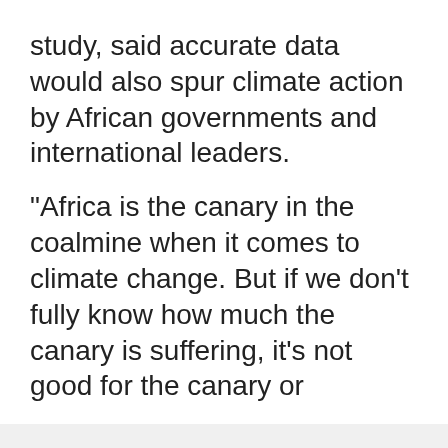study, said accurate data would also spur climate action by African governments and international leaders.
"Africa is the canary in the coalmine when it comes to climate change. But if we don't fully know how much the canary is suffering, it's not good for the canary or
We use cookies
We use cookies and other tracking technologies to improve your browsing experience on our website, to show you personalized content and targeted ads, to analyze our website traffic, and to understand where our visitors are coming from.